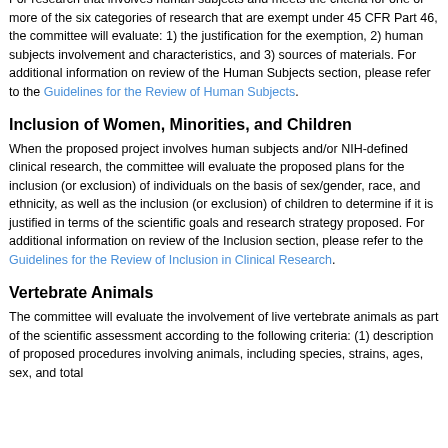For research that involves human subjects and meets the criteria for one or more of the six categories of research that are exempt under 45 CFR Part 46, the committee will evaluate: 1) the justification for the exemption, 2) human subjects involvement and characteristics, and 3) sources of materials. For additional information on review of the Human Subjects section, please refer to the Guidelines for the Review of Human Subjects.
Inclusion of Women, Minorities, and Children
When the proposed project involves human subjects and/or NIH-defined clinical research, the committee will evaluate the proposed plans for the inclusion (or exclusion) of individuals on the basis of sex/gender, race, and ethnicity, as well as the inclusion (or exclusion) of children to determine if it is justified in terms of the scientific goals and research strategy proposed. For additional information on review of the Inclusion section, please refer to the Guidelines for the Review of Inclusion in Clinical Research.
Vertebrate Animals
The committee will evaluate the involvement of live vertebrate animals as part of the scientific assessment according to the following criteria: (1) description of proposed procedures involving animals, including species, strains, ages, sex, and total